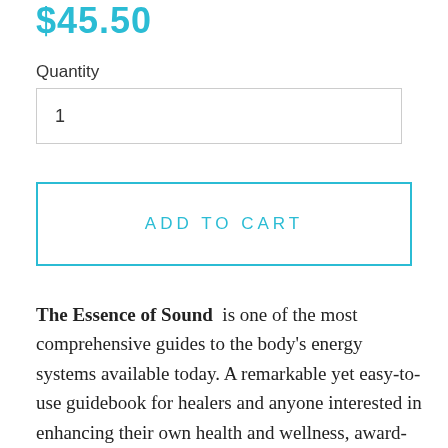$45.50
Quantity
1
ADD TO CART
The Essence of Sound is one of the most comprehensive guides to the body's energy systems available today. A remarkable yet easy-to-use guidebook for healers and anyone interested in enhancing their own health and wellness, award-winning author and energy healer Evelyn Mulders teaches...